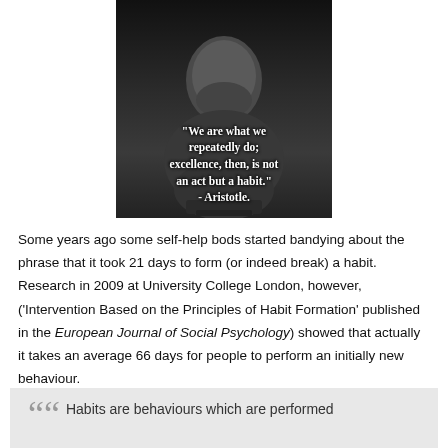[Figure (photo): Black and white photograph of an ancient Greek or Roman marble bust (resembling Aristotle), with a white text quote overlay reading: "We are what we repeatedly do; excellence, then, is not an act but a habit." - Aristotle.]
Some years ago some self-help bods started bandying about the phrase that it took 21 days to form (or indeed break) a habit. Research in 2009 at University College London, however, ('Intervention Based on the Principles of Habit Formation' published in the European Journal of Social Psychology) showed that actually it takes an average 66 days for people to perform an initially new behaviour.
Habits are behaviours which are performed